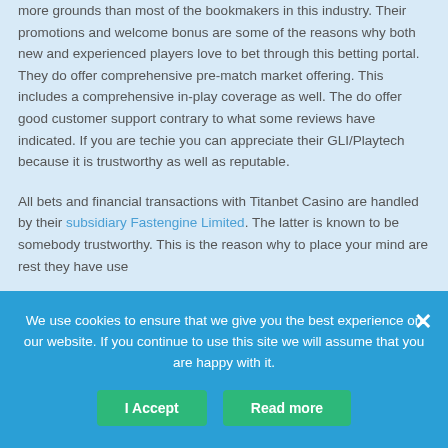more grounds than most of the bookmakers in this industry. Their promotions and welcome bonus are some of the reasons why both new and experienced players love to bet through this betting portal. They do offer comprehensive pre-match market offering. This includes a comprehensive in-play coverage as well. The do offer good customer support contrary to what some reviews have indicated. If you are techie you can appreciate their GLI/Playtech because it is trustworthy as well as reputable.
All bets and financial transactions with Titanbet Casino are handled by their subsidiary Fastengine Limited. The latter is known to be somebody trustworthy. This is the reason why to place your mind are rest they have use
We use cookies to ensure that we give you the best experience on our website. If you continue to use this site we will assume that you are happy with it.